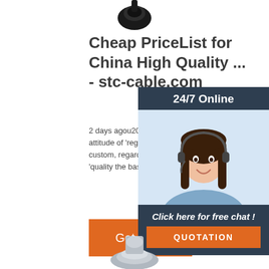[Figure (photo): Partial product image at top center (black cable/connector, cropped)]
Cheap PriceList for China High Quality ... - stc-cable.com
2 days agou2002·u2002Our eternal pursu the attitude of 'regard the market, regard th custom, regard the science' plus the theor 'quality the basic, have faith in the
[Figure (photo): Chat widget sidebar with agent photo, '24/7 Online' header, 'Click here for free chat!' text, and 'QUOTATION' button]
Get Price
[Figure (photo): Partial product image at bottom center (silver/metallic cable connector, cropped)]